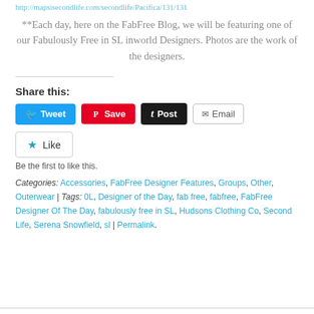http://mapsisecondlife.com/secondlife/Pacifica/131/131
**Each day, here on the FabFree Blog, we will be featuring one of our Fabulously Free in SL inworld Designers. Photos are the work of the designers.
Share this:
Tweet | Save | Post | Email
★ Like
Be the first to like this.
Categories: Accessories, FabFree Designer Features, Groups, Other, Outerwear | Tags: 0L, Designer of the Day, fab free, fabfree, FabFree Designer Of The Day, fabulously free in SL, Hudsons Clothing Co, Second Life, Serena Snowfield, sl | Permalink.